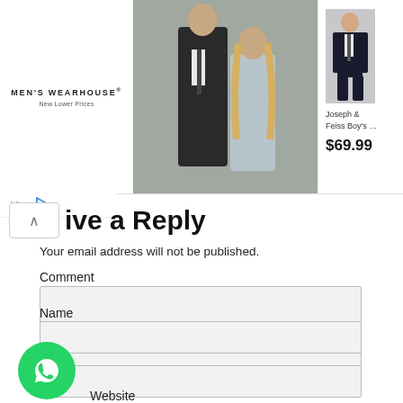[Figure (screenshot): Ad banner for Men's Wearhouse showing a couple in formal wear and a boy's suit product listing for Joseph & Feiss Boy's suit at $69.99]
Leave a Reply
Your email address will not be published.
Comment
Name
E
[Figure (logo): WhatsApp green circular button icon]
Website